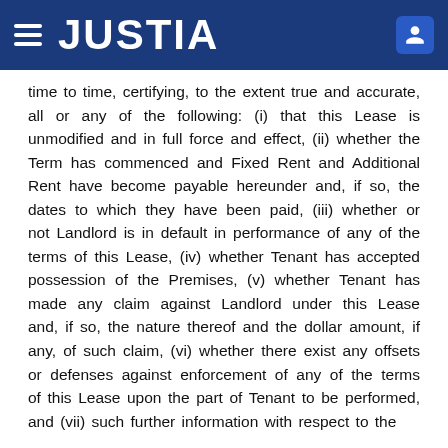JUSTIA
time to time, certifying, to the extent true and accurate, all or any of the following: (i) that this Lease is unmodified and in full force and effect, (ii) whether the Term has commenced and Fixed Rent and Additional Rent have become payable hereunder and, if so, the dates to which they have been paid, (iii) whether or not Landlord is in default in performance of any of the terms of this Lease, (iv) whether Tenant has accepted possession of the Premises, (v) whether Tenant has made any claim against Landlord under this Lease and, if so, the nature thereof and the dollar amount, if any, of such claim, (vi) whether there exist any offsets or defenses against enforcement of any of the terms of this Lease upon the part of Tenant to be performed, and (vii) such further information with respect to the